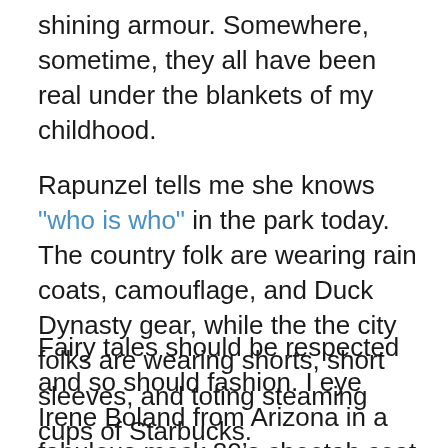shining armour. Somewhere, sometime, they all have been real under the blankets of my childhood.
Rapunzel tells me she knows "who is who" in the park today. The country folk are wearing rain coats, camouflage, and Duck Dynasty gear, while the the city folks are wearing shorts, short sleeves, and toting steaming cups of Starbucks.
Fairy tales should be respected and so should fashion. I eye Irene Boland from Arizona in a fabulous mock 80’s cheetah coat while she respectfully gives my “French Lieutenant Woman” coat the up and down. Strangers that have barely met speak like old friends about fashion and